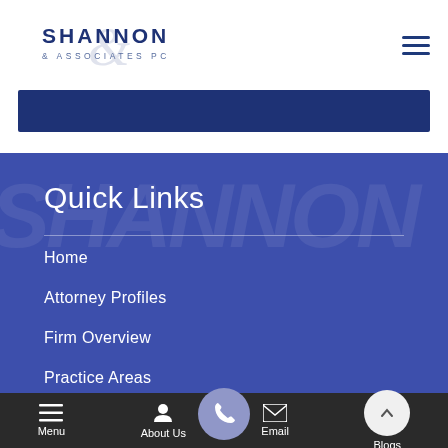[Figure (logo): Shannon & Associates PC law firm logo with stylized ampersand]
Quick Links
Home
Attorney Profiles
Firm Overview
Practice Areas
Menu | About Us | (phone) | Email | Blogs